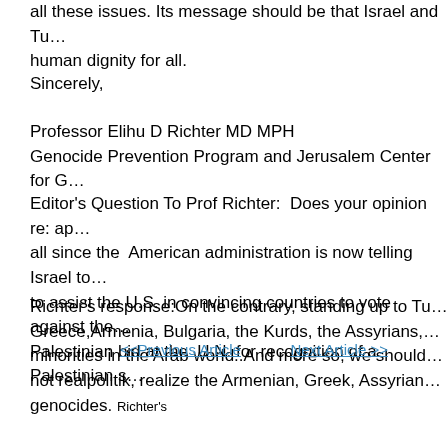all these issues. Its message should be that Israel and Tu… human dignity for all.
Sincerely,
Professor Elihu D Richter MD MPH
Genocide Prevention Program and Jerusalem Center for G…
Editor's Question To Prof Richter:  Does your opinion re: ap… all since the  American administration is now telling Israel to… to assist the U.S. in convincing countries to vote against the… Palestinian bid at the  U.N. for recognition of a Palestinian s…
Richter's response:On the contrary, standing up to Tu… Greece,Armenia, Bulgaria, the Kurds, the Assyrians,… minorities in the Arab world..And more so, we should… not realpolitik, realize the Armenian, Greek, Assyrian… genocides. Richter's
<<Previous Article        Next Article >>